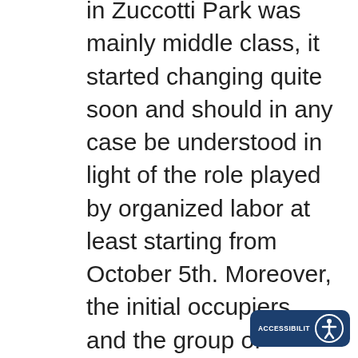in Zuccotti Park was mainly middle class, it started changing quite soon and should in any case be understood in light of the role played by organized labor at least starting from October 5th. Moreover, the initial occupiers and the group of facilitators who were de facto running the occupation were not all anarchists, but came from a diversity of political traditions. This is not to say that these elements played no role, but to say rather that their presence is not sufficient to explain why democracy is so central. Another element to take into consideration is that the centrality of the issue of democracy is not a